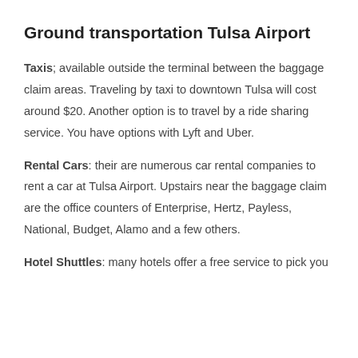Ground transportation Tulsa Airport
Taxis; available outside the terminal between the baggage claim areas. Traveling by taxi to downtown Tulsa will cost around $20. Another option is to travel by a ride sharing service. You have options with Lyft and Uber.
Rental Cars: their are numerous car rental companies to rent a car at Tulsa Airport. Upstairs near the baggage claim are the office counters of Enterprise, Hertz, Payless, National, Budget, Alamo and a few others.
Hotel Shuttles: many hotels offer a free service to pick you